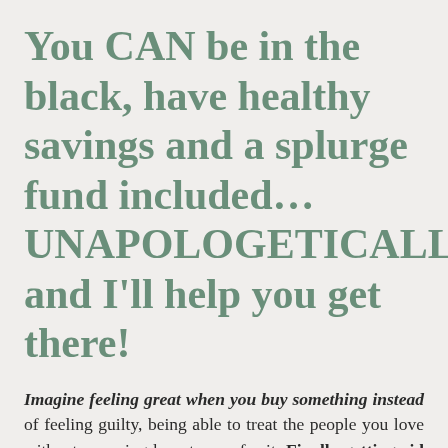You CAN be in the black, have healthy savings and a splurge fund included…UNAPOLOGETICALLY and I'll help you get there!
Imagine feeling great when you buy something instead of feeling guilty, being able to treat the people you love without worrying how to pay for it. Finally getting rid of those feelings of insecurity and overwhelm so you can achieve not just your money goals but your life